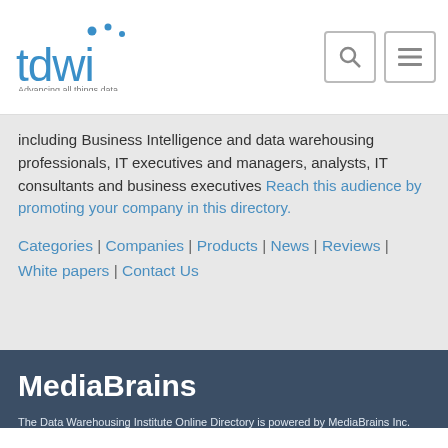[Figure (logo): TDWI logo with blue dots and text 'tdwi' and tagline 'Advancing all things data.']
including Business Intelligence and data warehousing professionals, IT executives and managers, analysts, IT consultants and business executives Reach this audience by promoting your company in this directory.
Categories | Companies | Products | News | Reviews | White papers | Contact Us
[Figure (logo): MediaBrains logo in white bold text on dark navy background]
The Data Warehousing Institute Online Directory is powered by MediaBrains Inc. ©2022.
Advertise with us | View all directories | Terms of use | Privacy policy
List Your Company!